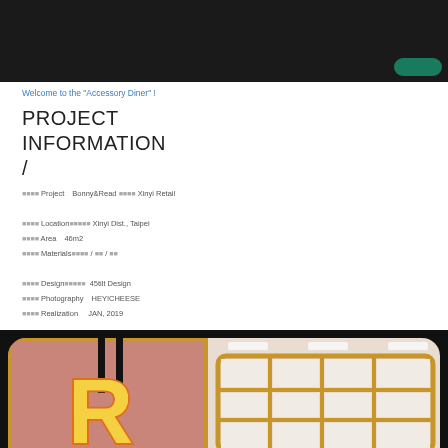[Figure (photo): Dark interior photo of a restaurant/retail space, top portion of page with a teal/green button overlay in top right]
Welcome to the "Accessory Diner" !
PROJECT INFORMATION /
Project　Bonny＆Read 信義旗艦 Xinyi Retail

　　　　 Location信義區信義路 Xinyi Dist., Taipei
　　　　 Area　46m２
　　　　 Materials磁磚烤漆 / 木紋 / 鐵件

　　　　 Design設計公司名  45tilt Design
　　　　 Photography　HEY！CHEESE
　　　　 Realization 　JAN, 2019
[Figure (photo): Interior photo of Bonny&Read retail space showing large illuminated R letter sign on pink/salmon background with golden frame, and grid shelving unit on right side]